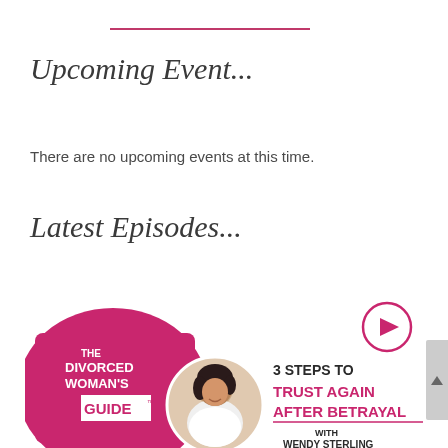Upcoming Event...
There are no upcoming events at this time.
Latest Episodes...
[Figure (illustration): Podcast episode thumbnail for 'The Divorced Woman's Guide' featuring host Wendy Sterling. Shows pink background with podcast branding on left, circular photo of dark-haired woman in white, and text '3 STEPS TO TRUST AGAIN AFTER BETRAYAL WITH WENDY STERLING' on the right with a play button icon.]